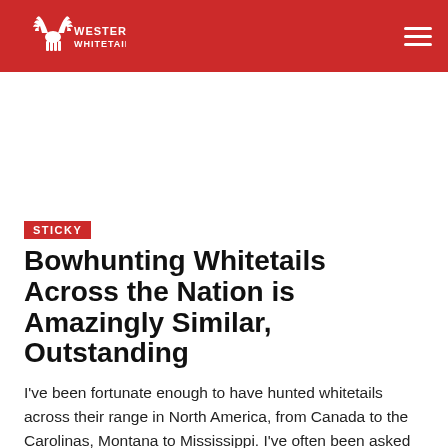Western Whitetail
STICKY
Bowhunting Whitetails Across the Nation is Amazingly Similar, Outstanding
I've been fortunate enough to have hunted whitetails across their range in North America, from Canada to the Carolinas, Montana to Mississippi. I've often been asked what is the difference between bowhunting whitetails in